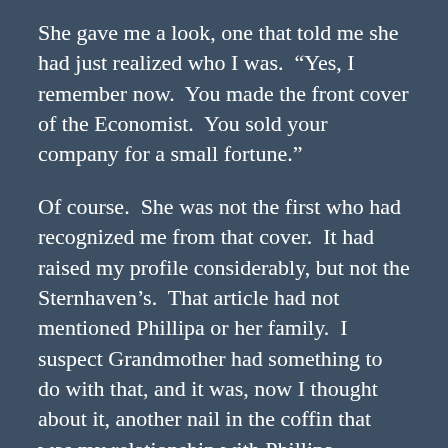She gave me a look, one that told me she had just realized who I was.  “Yes, I remember now.  You made the front cover of the Economist.  You sold your company for a small fortune.”
Of course.  She was not the first who had recognized me from that cover.  It had raised my profile considerably, but not the Sternhaven’s.  That article had not mentioned Phillipa or her family.  I suspect Grandmother had something to do with that, and it was, now I thought about it, another nail in the coffin that was my relationship with Phillipa.
“I wouldn’t say it was a fortune, small or otherwise, just fortunate.”  Each time, I found